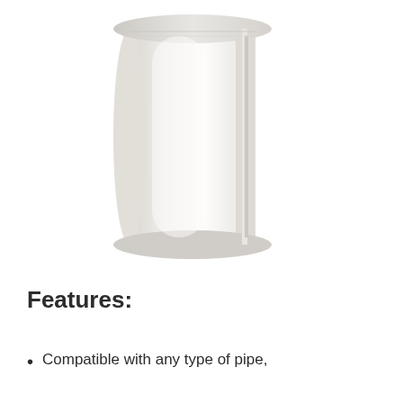[Figure (photo): A white cylindrical pipe cover or radiator pipe collar, hollow in the center with a split along one side, photographed against a white background.]
Features:
Compatible with any type of pipe,